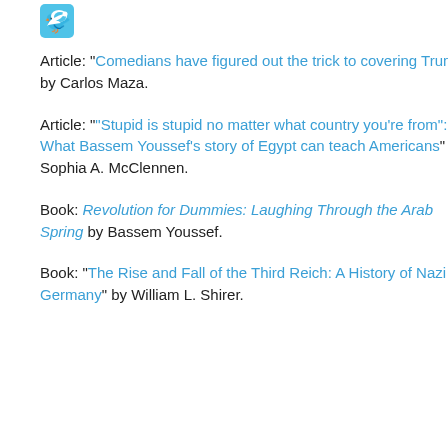[Figure (logo): Twitter/social media icon, light blue bird logo square]
Article: "Comedians have figured out the trick to covering Trump" by Carlos Maza.
Article: "'Stupid is stupid no matter what country you're from': What Bassem Youssef's story of Egypt can teach Americans" by Sophia A. McClennen.
Book: Revolution for Dummies: Laughing Through the Arab Spring by Bassem Youssef.
Book: "The Rise and Fall of the Third Reich: A History of Nazi Germany" by William L. Shirer.